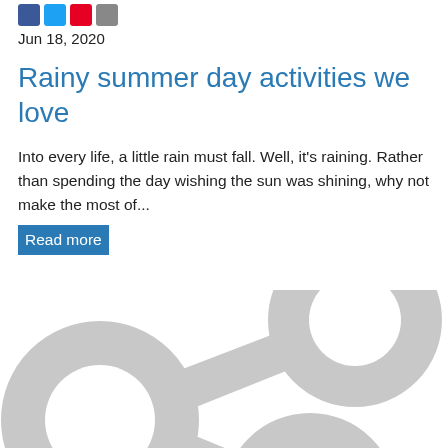Jun 18, 2020
Rainy summer day activities we love
Into every life, a little rain must fall. Well, it's raining. Rather than spending the day wishing the sun was shining, why not make the most of...
Read more
[Figure (illustration): Large light grey share icon (social sharing symbol) with three circles connected by two lines, partially cropped at bottom of page.]